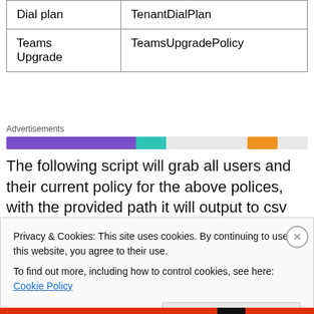| Dial plan | TenantDialPlan |
| Teams
Upgrade | TeamsUpgradePolicy |
[Figure (infographic): Advertisement bar with purple, teal, and orange colored segments on a light gray background.]
The following script will grab all users and their current policy for the above polices, with the provided path it will output to csv file
Privacy & Cookies: This site uses cookies. By continuing to use this website, you agree to their use.
To find out more, including how to control cookies, see here: Cookie Policy

Close and accept